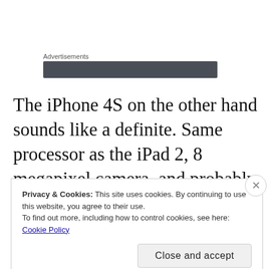Advertisements
[Figure (other): Dark gray advertisement banner placeholder bar]
The iPhone 4S on the other hand sounds like a definite. Same processor as the iPad 2, 8 megapixel camera, and probably going up to 64Gb on storage. Those features would also be available in any iPhone 5 model, but the 4S
Privacy & Cookies: This site uses cookies. By continuing to use this website, you agree to their use.
To find out more, including how to control cookies, see here: Cookie Policy
Close and accept